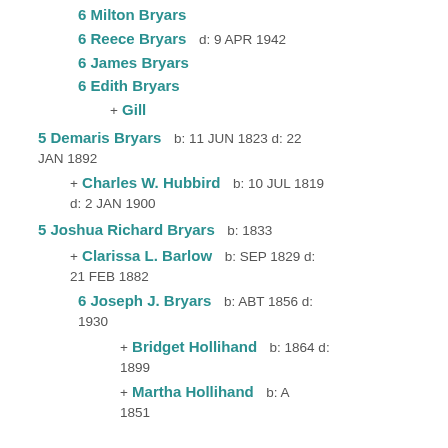6 Milton Bryars
6 Reece Bryars   d: 9 APR 1942
6 James Bryars
6 Edith Bryars
+ Gill
5 Demaris Bryars   b: 11 JUN 1823 d: 22 JAN 1892
+ Charles W. Hubbird   b: 10 JUL 1819 d: 2 JAN 1900
5 Joshua Richard Bryars   b: 1833
+ Clarissa L. Barlow   b: SEP 1829 d: 21 FEB 1882
6 Joseph J. Bryars   b: ABT 1856 d: 1930
+ Bridget Hollihand   b: 1864 d: 1899
+ Martha Hollihand   b: ABT 1851